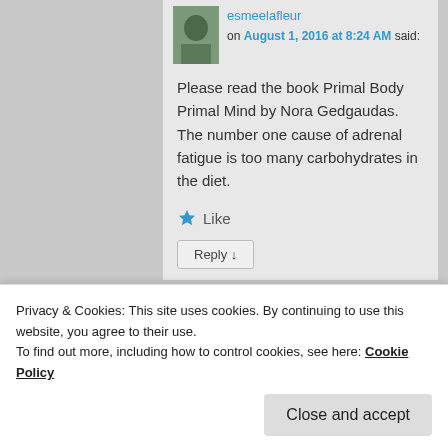esmeelafleur
on August 1, 2016 at 8:24 AM said:
Please read the book Primal Body Primal Mind by Nora Gedgaudas. The number one cause of adrenal fatigue is too many carbohydrates in the diet.
Like
Reply ↓
Dallas
Privacy & Cookies: This site uses cookies. By continuing to use this website, you agree to their use.
To find out more, including how to control cookies, see here: Cookie Policy
Close and accept